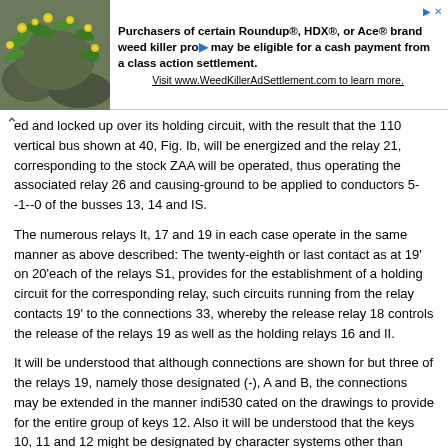[Figure (photo): Advertisement banner with a photo of yellow flowers on rocks (top-left) and text promoting a class action settlement for Roundup, HDX, or Ace brand weed killer products, with a close/skip button.]
ed and locked up over its holding circuit, with the result that the 110 vertical bus shown at 40, Fig. Ib, will be energized and the relay 21, corresponding to the stock ZAA will be operated, thus operating the associated relay 26 and causing-ground to be applied to conductors 5--1--0 of the busses 13, 14 and IS.
The numerous relays It, 17 and 19 in each case operate in the same manner as above described: The twenty-eighth or last contact as at 19' on 20'each of the relays S1, provides for the establishment of a holding circuit for the corresponding relay, such circuits running from the relay contacts 19' to the connections 33, whereby the release relay 18 controls the release of the relays 19 as well as the holding relays 16 and II.
It will be understood that although connections are shown for but three of the relays 19, namely those designated (-), A and B, the connections may be extended in the manner indi530 cated on the drawings to provide for the entire group of keys 12. Also it will be understood that the keys 10, 11 and 12 might be designated by character systems other than alphabetical systems. For example, one arbitrary numerical ab-, breviation or code system might be translated by the apparatus into another arbitrary or systematic numerical code system, and in that event the groups of keys 10